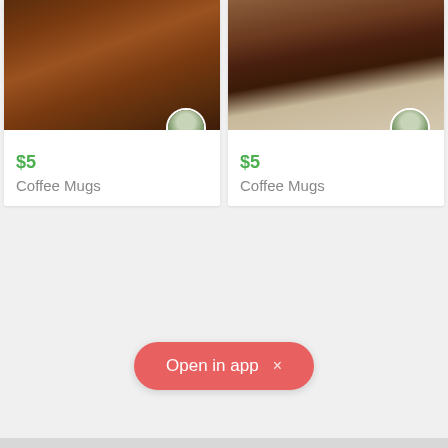[Figure (photo): Left product card showing a wooden table surface photographed from above, brown tones. Price listed as $5, item name Coffee Mugs. Circular avatar in bottom-right corner of image.]
[Figure (photo): Right product card showing a wooden table edge photographed, brown/dark tones. Price listed as $5, item name Coffee Mugs. Circular avatar in bottom-right corner of image.]
Open in app  ×